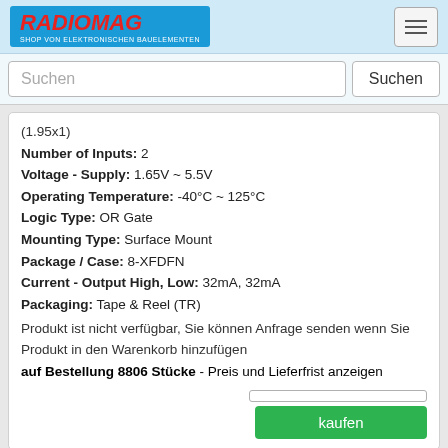[Figure (logo): Radiomag logo - SHOP VON ELEKTRONISCHEN BAUELEMENTEN]
Suchen
(1.95x1)
Number of Inputs: 2
Voltage - Supply: 1.65V ~ 5.5V
Operating Temperature: -40°C ~ 125°C
Logic Type: OR Gate
Mounting Type: Surface Mount
Package / Case: 8-XFDFN
Current - Output High, Low: 32mA, 32mA
Packaging: Tape & Reel (TR)
Produkt ist nicht verfügbar, Sie können Anfrage senden wenn Sie Produkt in den Warenkorb hinzufügen
auf Bestellung 8806 Stücke - Preis und Lieferfrist anzeigen
74LVC2G32GT,115
74LVC2G32GT,115
Hersteller: Nexperia USA Inc.
Description: IC GATE OR 2CH 2-INP 8XSON
Logic Level - High: 1.7V ~ 3V